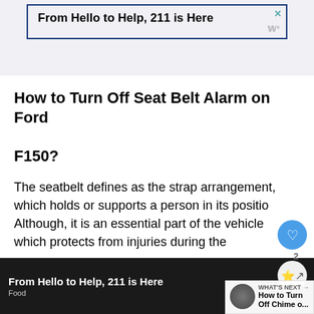[Figure (screenshot): Top advertisement banner: 'From Hello to Help, 211 is Here' with close button and logo, dark blue border on light background]
How to Turn Off Seat Belt Alarm on Ford F150?
The seatbelt defines as the strap arrangement, which holds or supports a person in its position. Although, it is an essential part of the vehicle which protects from injuries during the
[Figure (screenshot): Bottom advertisement banner: 'From Hello to Help, 211 is Here' on dark background with 'Food' subtitle and logo]